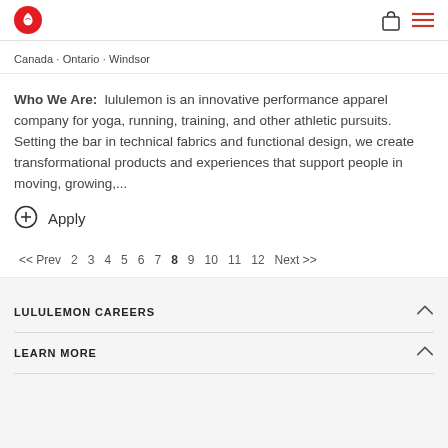lululemon logo, shopping bag icon, menu icon
Canada · Ontario · Windsor
Who We Are:  lululemon is an innovative performance apparel company for yoga, running, training, and other athletic pursuits. Setting the bar in technical fabrics and functional design, we create transformational products and experiences that support people in moving, growing,...
⊕  Apply
<< Prev  2  3  4  5  6  7  8  9  10  11  12  Next >>
LULULEMON CAREERS
LEARN MORE